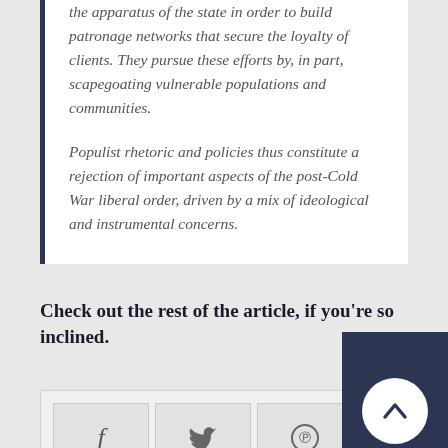the apparatus of the state in order to build patronage networks that secure the loyalty of clients. They pursue these efforts by, in part, scapegoating vulnerable populations and communities.

Populist rhetoric and policies thus constitute a rejection of important aspects of the post-Cold War liberal order, driven by a mix of ideological and instrumental concerns.
Check out the rest of the article, if you're so inclined.
[Figure (other): Social sharing buttons: Facebook (f icon), Twitter (bird icon), Pinterest (P icon), Google+ (G+ label). Dark navy scroll-to-top button with upward chevron in bottom right corner.]